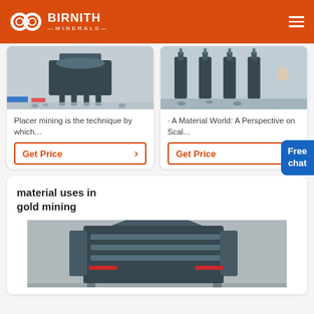BIRNITH MINERALS
[Figure (photo): Industrial mining/crushing machine in factory setting]
Placer mining is the technique by which...
Get Price
[Figure (photo): Industrial mining machine frames in factory setting]
· A Material World: A Perspective on Scal...
Get Price
Free chat
material uses in gold mining
[Figure (photo): Large industrial crusher/impact mill machine in warehouse]